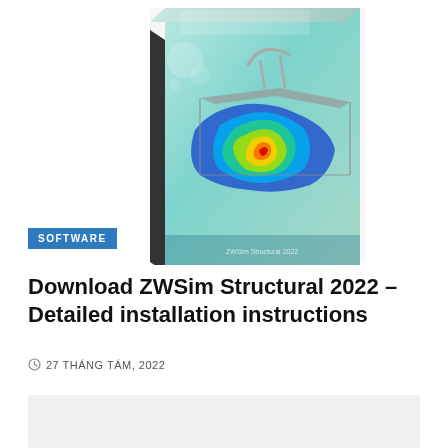[Figure (illustration): 3D software product box for ZWSim Structural 2022, showing a car chassis with structural simulation heat-map coloring on a teal/light blue gradient background.]
SOFTWARE
Download ZWSim Structural 2022 – Detailed installation instructions
27 THÁNG TÁM, 2022
[Figure (other): Gray placeholder content box at the bottom of the page]